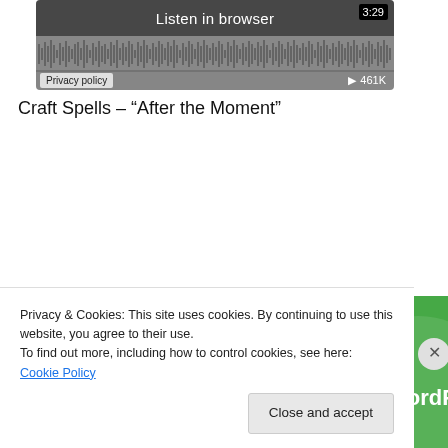[Figure (screenshot): SoundCloud-style audio player widget showing waveform, 'Listen in browser' text, timer '3:29', privacy policy button, play button and '461K' plays count. Background is dark gray with waveform visualization.]
Craft Spells – “After the Moment”
[Figure (screenshot): Jetpack plugin advertisement banner on green background. Shows Jetpack logo (lightning bolt in circle) and text 'The best real-time WordPress backup plugin'.]
Privacy & Cookies: This site uses cookies. By continuing to use this website, you agree to their use.
To find out more, including how to control cookies, see here: Cookie Policy
Close and accept